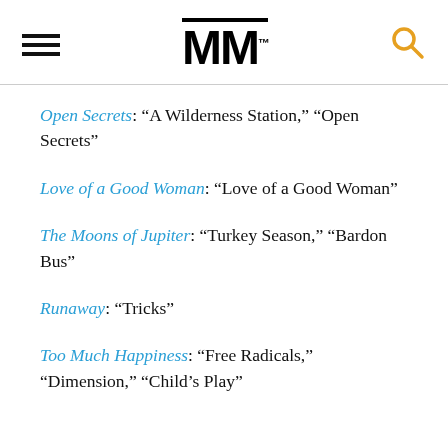MM
Open Secrets: “A Wilderness Station,” “Open Secrets”
Love of a Good Woman: “Love of a Good Woman”
The Moons of Jupiter: “Turkey Season,” “Bardon Bus”
Runaway: “Tricks”
Too Much Happiness: “Free Radicals,” “Dimension,” “Child’s Play”